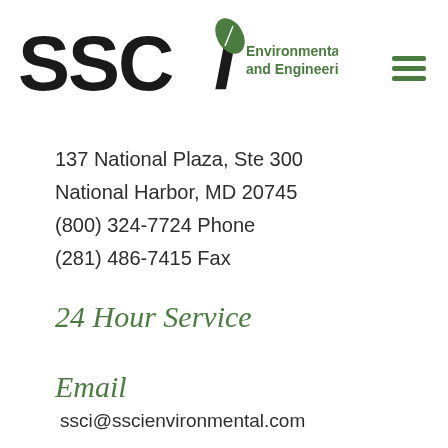[Figure (logo): SSCI Environmental, Construction and Engineering Services logo with leaf icon]
137 National Plaza, Ste 300
National Harbor, MD 20745
(800) 324-7724 Phone
(281) 486-7415 Fax
24 Hour Service
Email
ssci@sscienvironmental.com